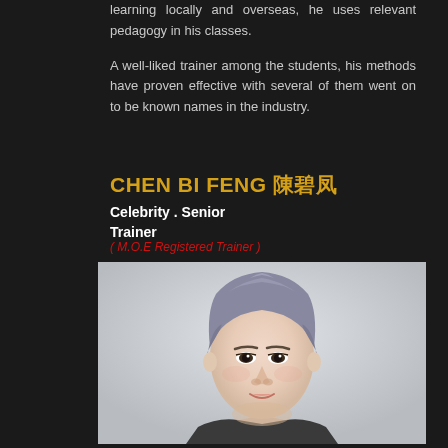learning locally and overseas, he uses relevant pedagogy in his classes.
A well-liked trainer among the students, his methods have proven effective with several of them went on to be known names in the industry.
CHEN BI FENG 陈碧凤
Celebrity . Senior Trainer
( M.O.E Registered Trainer )
[Figure (photo): Professional headshot of Chen Bi Feng, a middle-aged Asian woman with short grey-blue hair, smiling, wearing a dark outfit, against a light grey background.]